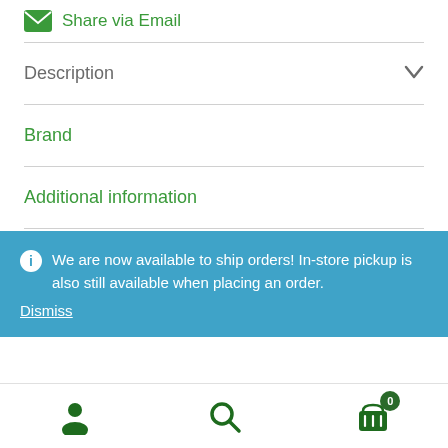Share via Email
Description
Brand
Additional information
We are now available to ship orders! In-store pickup is also still available when placing an order.
Dismiss
[Figure (other): Bottom navigation bar with user account icon, search icon, and shopping cart icon with badge showing 0]